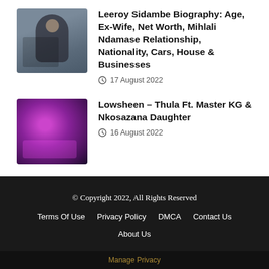[Figure (photo): Photo of Leeroy Sidambe, a man in a suit indoors]
Leeroy Sidambe Biography: Age, Ex-Wife, Net Worth, Mihlali Ndamase Relationship, Nationality, Cars, House & Businesses
17 August 2022
[Figure (photo): Photo of Lowsheen, a DJ performing under purple lights]
Lowsheen – Thula Ft. Master KG & Nkosazana Daughter
16 August 2022
Show More
© Copyright 2022, All Rights Reserved
Terms Of Use  Privacy Policy  DMCA  Contact Us
About Us
Manage Privacy